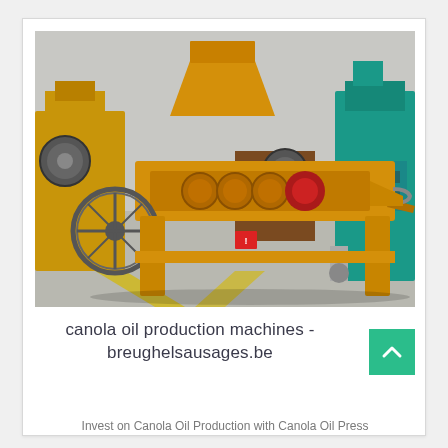[Figure (photo): A yellow/gold canola oil press machine (screw press) in an industrial factory floor, with other industrial machines visible in the background including a teal/turquoise machine on the right.]
canola oil production machines - breughelsausages.be
Invest on Canola Oil Production with Canola Oil Press